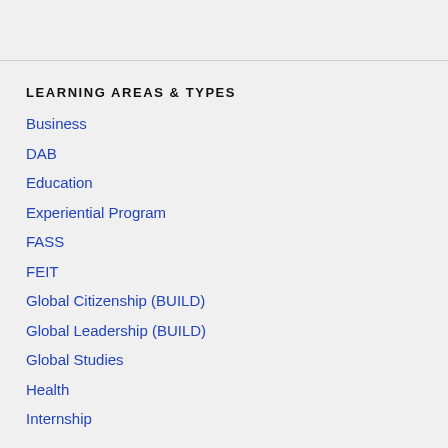LEARNING AREAS & TYPES
Business
DAB
Education
Experiential Program
FASS
FEIT
Global Citizenship (BUILD)
Global Leadership (BUILD)
Global Studies
Health
Internship